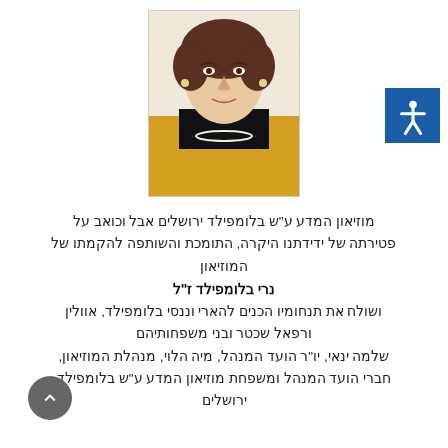[Figure (photo): Portrait photo of an elderly woman wearing a yellow jacket and pearl necklace, with curly brown hair]
מוזיאון המדע ע"ש בלומפילד ירושלים אבל וכואב על פטירתה של ידידתנו היקרה, התומכת והשותפה להקמתו של המוזיאון
נרי בלומפילד ז"ל
ושולח את תנחומיו הכנים להארי וננסי בלומפילד, אוולין ורפאל שכטר ובני משפחותיהם
שלמה ינאי, יו"ר הועד המנהל, מיה הלוי, מנהלת המוזיאון, חברי הועד המנהל ומשפחת מוזיאון המדע ע"ש בלומפילד ירושלים